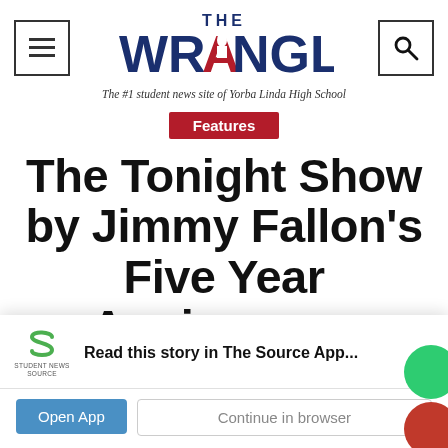THE WRANGLER — The #1 student news site of Yorba Linda High School
Features
The Tonight Show by Jimmy Fallon's Five Year Anniversary
Read this story in The Source App...
Open App | Continue in browser